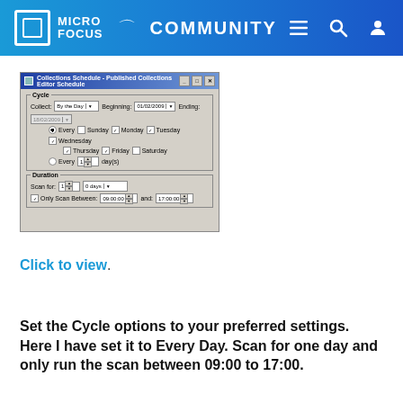MICRO FOCUS COMMUNITY
[Figure (screenshot): Collections Schedule - Published Collections Editor Schedule dialog window showing Cycle settings with Collect: By the Day, Beginning: 01/02/2009, Ending: 18/02/2009, checkboxes for days of week (Monday, Tuesday, Wednesday, Thursday, Friday checked), Every radio button selected, Every radio not selected, Duration section with Scan for: 1 day, Only Scan Between: 09:00:00 and 17:00:00]
Click to view.
Set the Cycle options to your preferred settings. Here I have set it to Every Day. Scan for one day and only run the scan between 09:00 to 17:00.